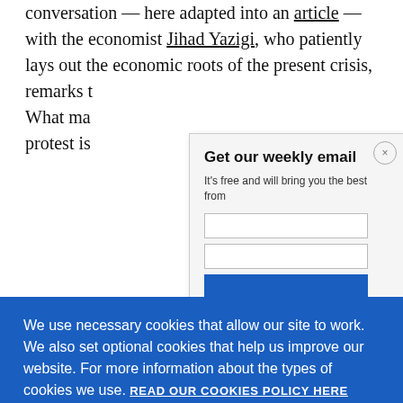conversation — here adapted into an article — with the economist Jihad Yazigi, who patiently lays out the economic roots of the present crisis, remarks that... What ma... protest is...
Get our weekly email
It's free and will bring you the best from
We use necessary cookies that allow our site to work. We also set optional cookies that help us improve our website. For more information about the types of cookies we use. READ OUR COOKIES POLICY HERE
COOKIE SETTINGS
ALLOW ALL COOKIES
data.
Maurice :